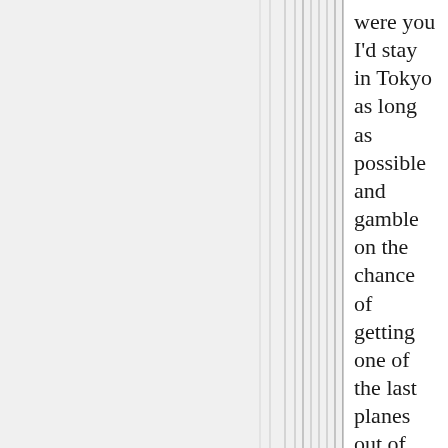[Figure (other): Multiple vertical parallel lines of varying thickness spanning the full height of the page, creating a ruled or striped background pattern on a light grey surface.]
were you I'd stay in Tokyo as long as possible and gamble on the chance of getting one of the last planes out of there if THSHTH You have to take some risks in this